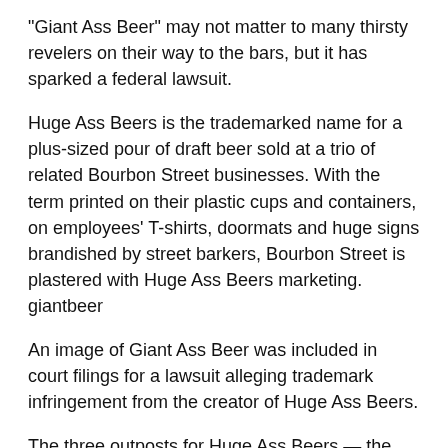“Giant Ass Beer” may not matter to many thirsty revelers on their way to the bars, but it has sparked a federal lawsuit.
Huge Ass Beers is the trademarked name for a plus-sized pour of draft beer sold at a trio of related Bourbon Street businesses. With the term printed on their plastic cups and containers, on employees’ T-shirts, doormats and huge signs brandished by street barkers, Bourbon Street is plastered with Huge Ass Beers marketing. giantbeer
An image of Giant Ass Beer was included in court filings for a lawsuit alleging trademark infringement from the creator of Huge Ass Beers.
The three outposts for Huge Ass Beers — the Steak Pit, Prohibition and Cornet — are all owned by Nicholas S. Karno #1 Inc., a company run by Billie Karno, the operator and landlord for a number of businesses along Bourbon Street.